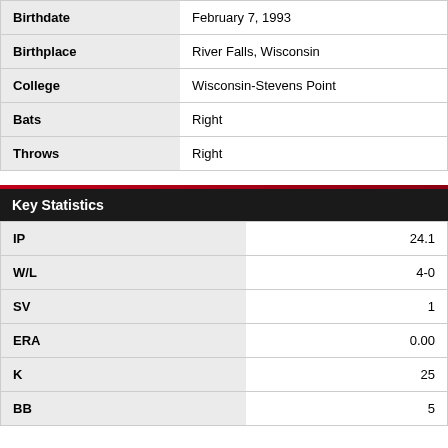| Field | Value |
| --- | --- |
| Birthdate | February 7, 1993 |
| Birthplace | River Falls, Wisconsin |
| College | Wisconsin-Stevens Point |
| Bats | Right |
| Throws | Right |
Key Statistics
| Stat | Value |
| --- | --- |
| IP | 24.1 |
| W/L | 4-0 |
| SV | 1 |
| ERA | 0.00 |
| K | 25 |
| BB | 5 |